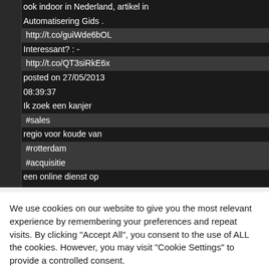ook indoor in Nederland, artikel in Automatisering Gids . http://t.co/guiWde6bOL Interessant? : - http://t.co/QT3siRkE6x posted on 27/05/2013 08:39:37 Ik zoek een kanjer #sales regio voor koude van #rotterdam #acquisitie een online dienst op
We use cookies on our website to give you the most relevant experience by remembering your preferences and repeat visits. By clicking "Accept All", you consent to the use of ALL the cookies. However, you may visit "Cookie Settings" to provide a controlled consent.